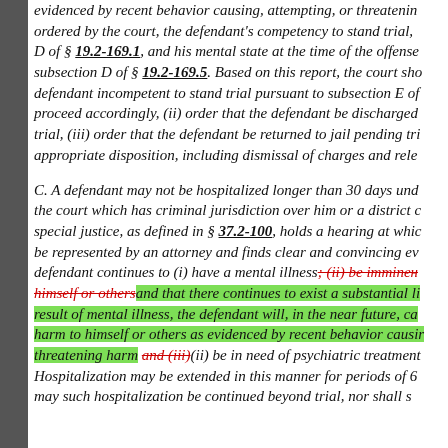evidenced by recent behavior causing, attempting, or threatening ordered by the court, the defendant's competency to stand trial, D of § 19.2-169.1, and his mental state at the time of the offense subsection D of § 19.2-169.5. Based on this report, the court sho defendant incompetent to stand trial pursuant to subsection E of proceed accordingly, (ii) order that the defendant be discharged trial, (iii) order that the defendant be returned to jail pending tri appropriate disposition, including dismissal of charges and rele C. A defendant may not be hospitalized longer than 30 days und the court which has criminal jurisdiction over him or a district c special justice, as defined in § 37.2-100, holds a hearing at whic be represented by an attorney and finds clear and convincing ev defendant continues to (i) have a mental illness, (ii) be imminently [strikethrough] himself or others [strikethrough] and that there continues to exist a substantial li result of mental illness, the defendant will, in the near future, ca harm to himself or others as evidenced by recent behavior causi threatening harm and (iii)(ii) be in need of psychiatric treatment Hospitalization may be extended in this manner for periods of 6 may such hospitalization be continued beyond trial, nor shall s